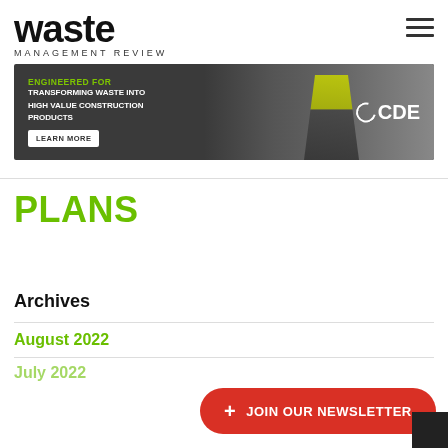waste MANAGEMENT REVIEW
[Figure (infographic): CDE advertisement banner: dark background with rocks, worker in high-vis jacket. Text: ENGINEERED FOR TRANSFORMING WASTE INTO HIGH VALUE CONSTRUCTION PRODUCTS. LEARN MORE button. CDE logo.]
PLANS
Archives
August 2022
+ JOIN OUR NEWSLETTER